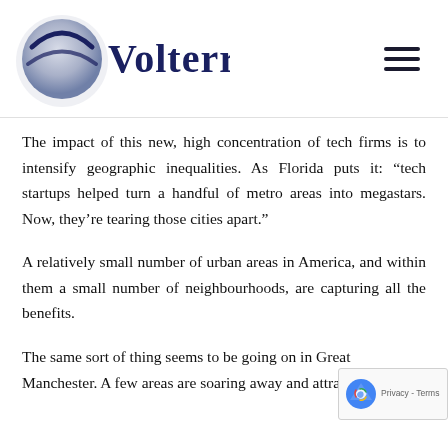Volterra
The impact of this new, high concentration of tech firms is to intensify geographic inequalities. As Florida puts it: “tech startups helped turn a handful of metro areas into megastars. Now, they’re tearing those cities apart.”
A relatively small number of urban areas in America, and within them a small number of neighbourhoods, are capturing all the benefits.
The same sort of thing seems to be going on in Great Manchester. A few areas are soaring away and attracting